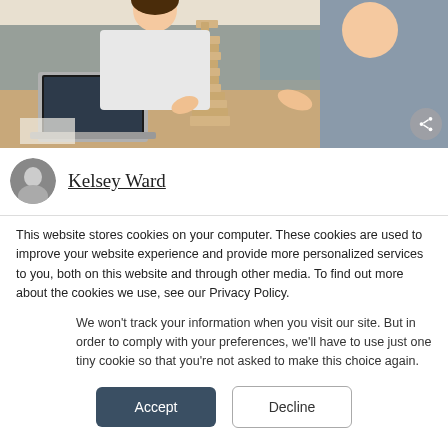[Figure (photo): People playing Jenga with wooden blocks at an office table with a laptop visible]
Kelsey Ward
This website stores cookies on your computer. These cookies are used to improve your website experience and provide more personalized services to you, both on this website and through other media. To find out more about the cookies we use, see our Privacy Policy.
We won't track your information when you visit our site. But in order to comply with your preferences, we'll have to use just one tiny cookie so that you're not asked to make this choice again.